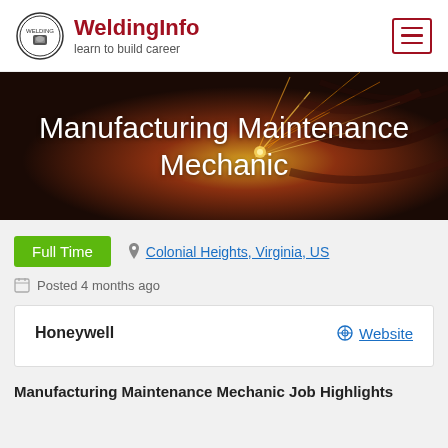WeldingInfo — learn to build career
Manufacturing Maintenance Mechanic
Full Time
Colonial Heights, Virginia, US
Posted 4 months ago
Honeywell   Website
Manufacturing Maintenance Mechanic Job Highlights